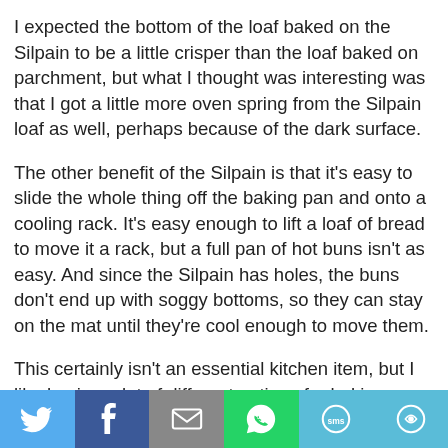I expected the bottom of the loaf baked on the Silpain to be a little crisper than the loaf baked on parchment, but what I thought was interesting was that I got a little more oven spring from the Silpain loaf as well, perhaps because of the dark surface.
The other benefit of the Silpain is that it's easy to slide the whole thing off the baking pan and onto a cooling rack. It's easy enough to lift a loaf of bread to move it a rack, but a full pan of hot buns isn't as easy. And since the Silpain has holes, the buns don't end up with soggy bottoms, so they can stay on the mat until they're cool enough to move them.
This certainly isn't an essential kitchen item, but I like having a lot of different options for baking bread so I get different results. Sometimes I want the crunch of cornmeal on the bottom a loaf, but now that I've got this mat, I won't be using nearly as much parchment paper.
[Figure (infographic): Social sharing bar with six buttons: Twitter (blue bird icon), Facebook (dark blue f icon), Email (grey envelope icon), WhatsApp (green phone icon), SMS (light blue sms icon), More (light blue circular icon)]